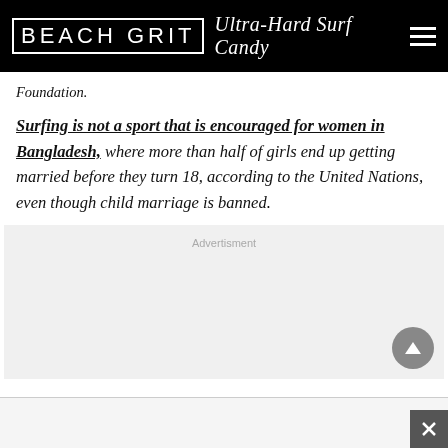BEACH GRIT Ultra-Hard Surf Candy
Foundation.
Surfing is not a sport that is encouraged for women in Bangladesh, where more than half of girls end up getting married before they turn 18, according to the United Nations, even though child marriage is banned.
[Figure (other): Advertisement placeholder box with 'Advertisment' label and scroll-to-top button]
[Figure (other): Bottom advertisement strip with close (X) button]